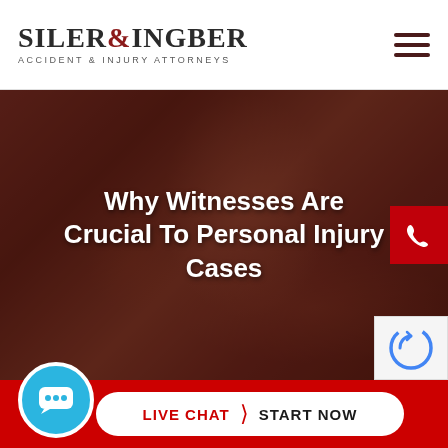[Figure (logo): Siler & Ingber Accident & Injury Attorneys logo with serif text]
Why Witnesses Are Crucial To Personal Injury Cases
[Figure (photo): Dark reddish-tinted background photo of a person at a car accident scene, used as hero image with overlay]
LIVE CHAT  START NOW